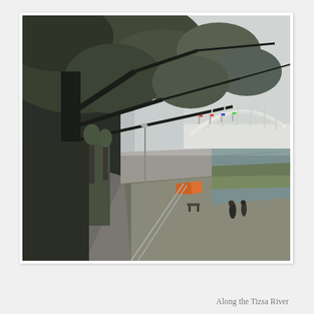[Figure (photo): Outdoor photograph along the Tizsa River. A tree-lined promenade walkway runs along the left side with large dark-trunked trees overhead. A concrete embankment leads to the river on the right. In the background, a white arched bridge spans the river with flags and boats visible. Two people walk along the lower riverside path. Overcast sky.]
Along the Tizsa River